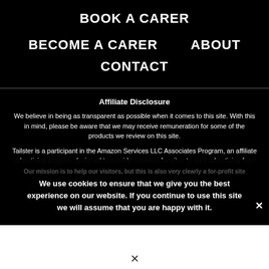BOOK A CARER
BECOME A CARER
ABOUT
CONTACT
Affiliate Disclosure
We believe in being as transparent as possible when it comes to this site. With this in mind, please be aware that we may receive remuneration for some of the products we review on this site.
Tailster is a participant in the Amazon Services LLC Associates Program, an affiliate advertising program designed to provide a means for sites to earn advertising fees by advertising and linking to Amazon.com (and other Amazon programs).
We will also list ads from time to time. You should be able to see these as text li...
We use cookies to ensure that we give you the best experience on our website. If you continue to use this site we will assume that you are happy with it.
Our mission is to help our visitors, but this is also very clearly a for-profit site